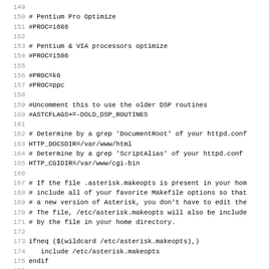Code listing lines 149-181, Makefile configuration for Asterisk build system including processor optimization flags and makeopts includes.